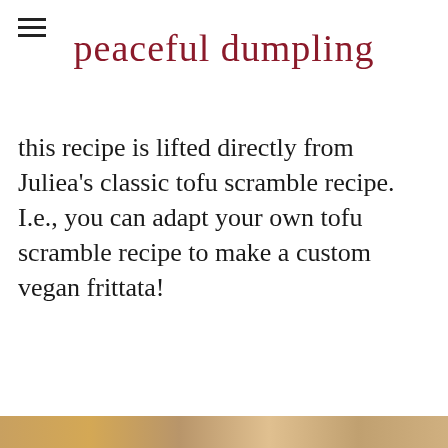peaceful dumpling
this recipe is lifted directly from Juliea's classic tofu scramble recipe. I.e., you can adapt your own tofu scramble recipe to make a custom vegan frittata!
[Figure (photo): Partial view of a food photo at the bottom edge of the page]